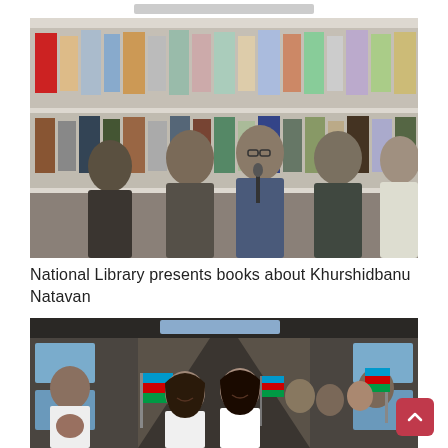[Figure (photo): Four men standing in front of a wall display of books at a library event. The central man appears to be speaking at a microphone.]
National Library presents books about Khurshidbanu Natavan
[Figure (photo): Interior of a bus filled with people, mostly young women, holding Azerbaijani flags and smiling.]